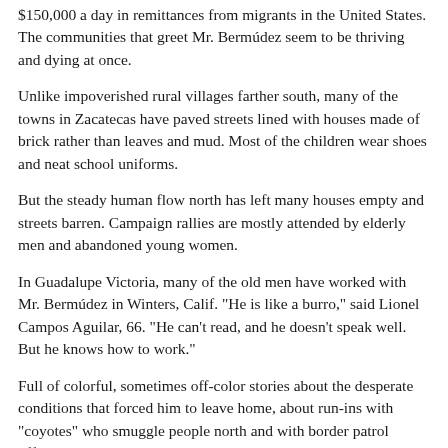$150,000 a day in remittances from migrants in the United States. The communities that greet Mr. Bermúdez seem to be thriving and dying at once.
Unlike impoverished rural villages farther south, many of the towns in Zacatecas have paved streets lined with houses made of brick rather than leaves and mud. Most of the children wear shoes and neat school uniforms.
But the steady human flow north has left many houses empty and streets barren. Campaign rallies are mostly attended by elderly men and abandoned young women.
In Guadalupe Victoria, many of the old men have worked with Mr. Bermúdez in Winters, Calif. "He is like a burro," said Lionel Campos Aguilar, 66. "He can't read, and he doesn't speak well. But he knows how to work."
Full of colorful, sometimes off-color stories about the desperate conditions that forced him to leave home, about run-ins with "coyotes" who smuggle people north and with border patrol officers, and about racist encounters with Americans, Mr. Bermúdez portrays himself as the embodiment of the migration that suffuses the culture of the state.
When asked what he describes himself as...